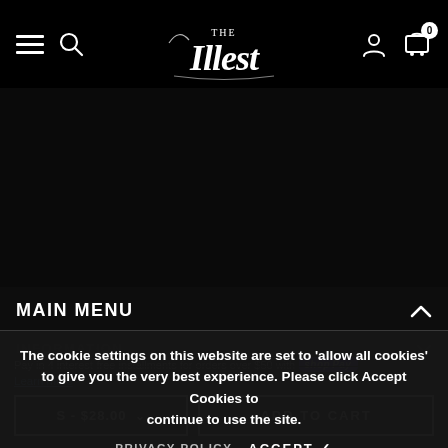[Figure (logo): The Illest script logo in white on black background]
MAIN MENU
The cookie settings on this website are set to 'allow all cookies' to give you the very best experience. Please click Accept Cookies to continue to use the site.
INFORMATION
CUSTOMER SERVICE
PRIVACY POLICY    ACCEPT ✓
Pay in 4 interest-free installments for orders over $50 with Shop Pay
Learn more
S - $28.00    ADD TO CART